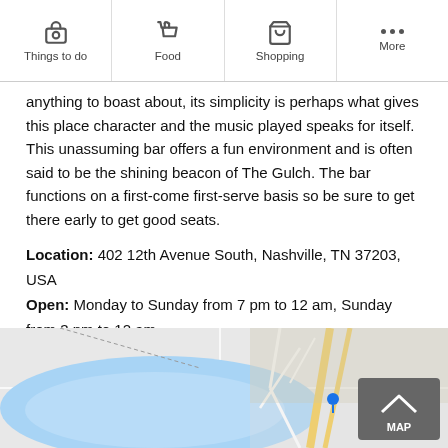Things to do | Food | Shopping | More
anything to boast about, its simplicity is perhaps what gives this place character and the music played speaks for itself. This unassuming bar offers a fun environment and is often said to be the shining beacon of The Gulch. The bar functions on a first-come first-serve basis so be sure to get there early to get good seats.
Location: 402 12th Avenue South, Nashville, TN 37203, USA
Open: Monday to Sunday from 7 pm to 12 am, Sunday from 3 pm to 12 am
Phone: +1 615-255-3307
[Figure (map): Street map showing Nashville area with roads and waterway, with a MAP back-to-top button overlay]